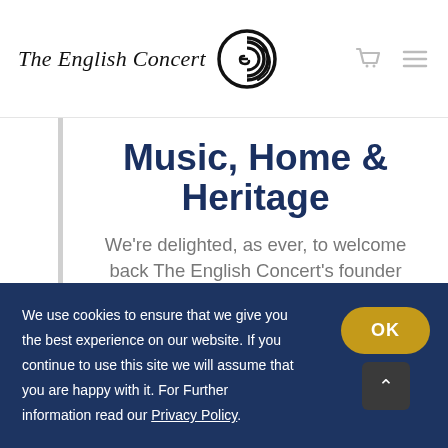The English Concert
Music, Home & Heritage
We're delighted, as ever, to welcome back The English Concert's founder
We use cookies to ensure that we give you the best experience on our website. If you continue to use this site we will assume that you are happy with it. For Further information read our Privacy Policy.